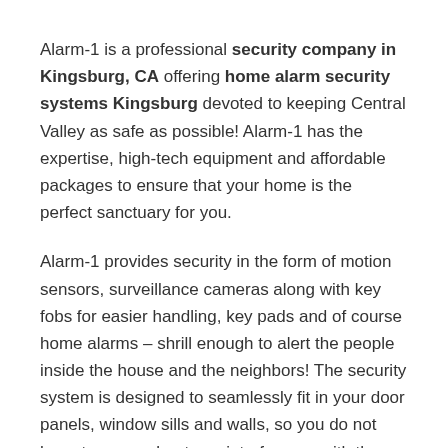Alarm-1 is a professional security company in Kingsburg, CA offering home alarm security systems Kingsburg devoted to keeping Central Valley as safe as possible! Alarm-1 has the expertise, high-tech equipment and affordable packages to ensure that your home is the perfect sanctuary for you.
Alarm-1 provides security in the form of motion sensors, surveillance cameras along with key fobs for easier handling, key pads and of course home alarms – shrill enough to alert the people inside the house and the neighbors! The security system is designed to seamlessly fit in your door panels, window sills and walls, so you do not have to worry about any interference with the décor.
Our services also cater to businesses as well. Whether it's a small shop at the corner of the street, or an